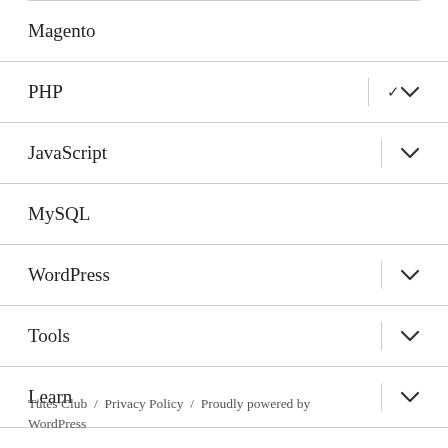Magento
PHP
JavaScript
MySQL
WordPress
Tools
Learn
Tutes Club / Privacy Policy / Proudly powered by WordPress